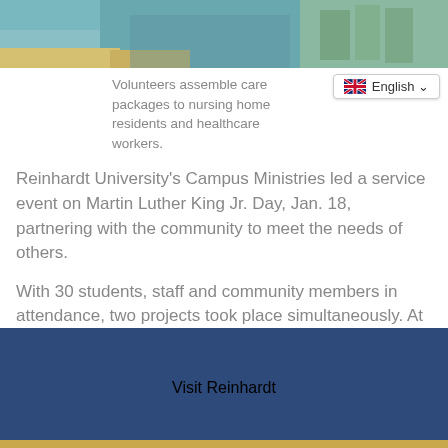[Figure (photo): Photo of volunteers assembling care packages, showing brown paper bags on a table with a blue background]
Volunteers assemble care packages to nursing home residents and healthcare workers.
Reinhardt University's Campus Ministries led a service event on Martin Luther King Jr. Day, Jan. 18, partnering with the community to meet the needs of others.
With 30 students, staff and community members in attendance, two projects took place simultaneously. At Cline Park in Waleska, participants partnering with Cherokee County Park Services cleaned litter, fixed a broken bench and spread mulch throughout the park. In the Bannister Glasshouse on campus, others assembled 130 care packages for the senior citizen residents at The Lodge
Visit Reinhardt